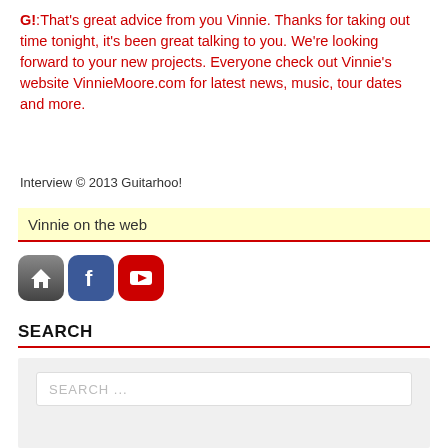G!:That's great advice from you Vinnie. Thanks for taking out time tonight, it's been great talking to you. We're looking forward to your new projects. Everyone check out Vinnie's website VinnieMoore.com for latest news, music, tour dates and more.
Interview © 2013 Guitarhoo!
Vinnie on the web
[Figure (illustration): Three social media icons: home icon (dark gray rounded square), Facebook icon (blue rounded square with white 'f'), YouTube icon (red rounded square with white play button triangle)]
SEARCH
SEARCH ...